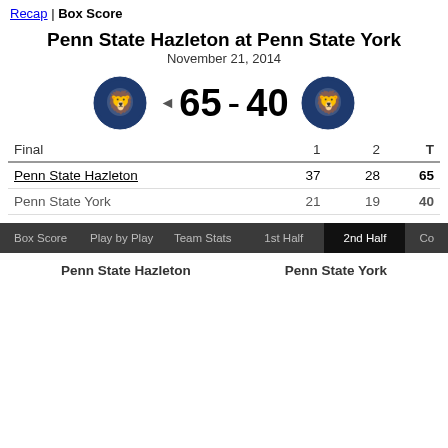Recap | Box Score
Penn State Hazleton at Penn State York
November 21, 2014
[Figure (logo): Penn State Nittany Lions logo (left team)]
65 - 40
[Figure (logo): Penn State Nittany Lions logo (right team)]
| Final | 1 | 2 | T |
| --- | --- | --- | --- |
| Penn State Hazleton | 37 | 28 | 65 |
| Penn State York | 21 | 19 | 40 |
Box Score | Play by Play | Team Stats | 1st Half | 2nd Half | Co...
Penn State Hazleton
Penn State York